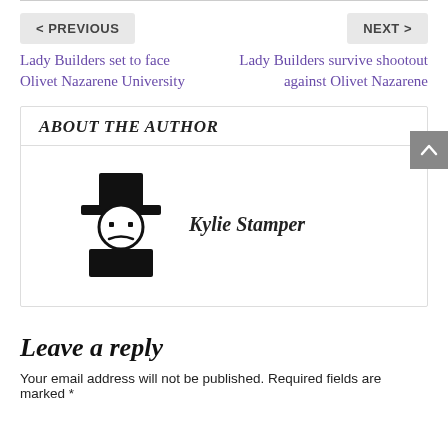< PREVIOUS
NEXT >
Lady Builders set to face Olivet Nazarene University
Lady Builders survive shootout against Olivet Nazarene
ABOUT THE AUTHOR
[Figure (illustration): Generic author avatar: a stick figure with a top hat, two dot eyes, a curved mouth, and a rectangular body, all in black silhouette]
Kylie Stamper
Leave a reply
Your email address will not be published. Required fields are marked *